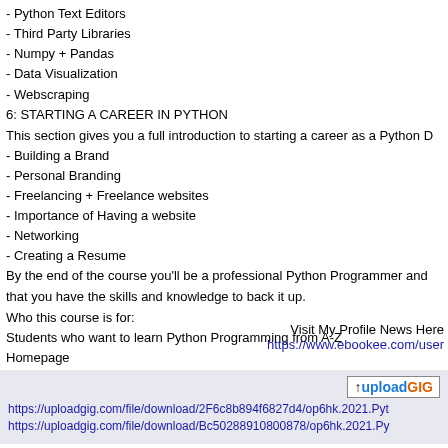- Python Text Editors
- Third Party Libraries
- Numpy + Pandas
- Data Visualization
- Webscraping
6: STARTING A CAREER IN PYTHON
This section gives you a full introduction to starting a career as a Python D
- Building a Brand
- Personal Branding
- Freelancing + Freelance websites
- Importance of Having a website
- Networking
- Creating a Resume
By the end of the course you'll be a professional Python Programmer and have a portfolio that you have the skills and knowledge to back it up.
Who this course is for:
Students who want to learn Python Programming from A-Z
Homepage
https://www.udemy.com/course/learn-python-programming-from-a-z/
Visit My Profile News Here
https://www.ebookee.com/user
[Figure (logo): UploadGIG logo with upload arrow icon]
https://uploadgig.com/file/download/2F6c8b894f6827d4/op6hk.2021.Pyt
https://uploadgig.com/file/download/Bc50288910800878/op6hk.2021.Py